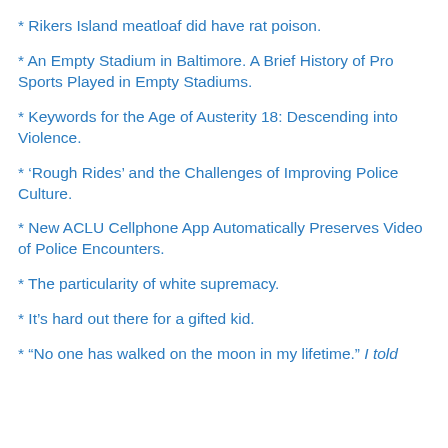* Rikers Island meatloaf did have rat poison.
* An Empty Stadium in Baltimore. A Brief History of Pro Sports Played in Empty Stadiums.
* Keywords for the Age of Austerity 18: Descending into Violence.
* ‘Rough Rides’ and the Challenges of Improving Police Culture.
* New ACLU Cellphone App Automatically Preserves Video of Police Encounters.
* The particularity of white supremacy.
* It’s hard out there for a gifted kid.
* “No one has walked on the moon in my lifetime.” I told